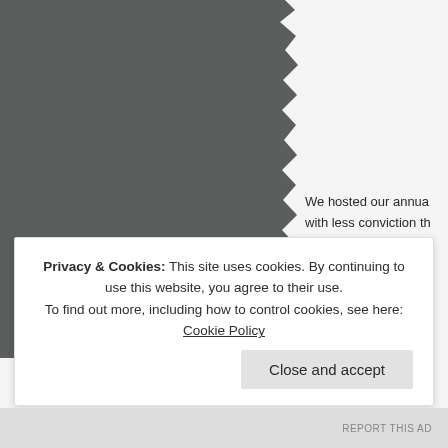[Figure (photo): Dark gray image with torn/ragged right edge on the left side of the page]
We hosted our annua... with less conviction th...
Privacy & Cookies: This site uses cookies. By continuing to use this website, you agree to their use. To find out more, including how to control cookies, see here: Cookie Policy
Close and accept
REPORT THIS AD